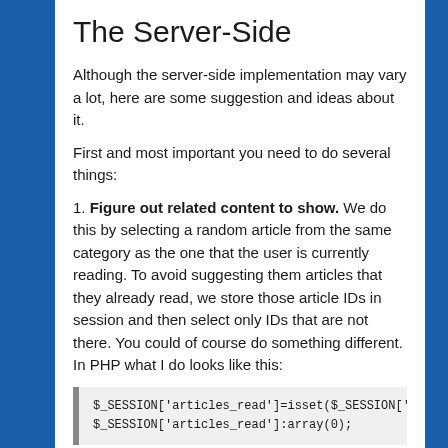The Server-Side
Although the server-side implementation may vary a lot, here are some suggestion and ideas about it.
First and most important you need to do several things:
1. Figure out related content to show. We do this by selecting a random article from the same category as the one that the user is currently reading. To avoid suggesting them articles that they already read, we store those article IDs in session and then select only IDs that are not there. You could of course do something different. In PHP what I do looks like this:
[Figure (screenshot): Code block showing PHP session array initialization: $_SESSION['articles_read']=isset($_SESSION['ar... $_SESSION['articles_read']:array(0);]
Here I just prepare the array of read articles. Once we select the current article we add it to the array:
[Figure (screenshot): Code block showing PHP session array assignment: $_SESSION['articles_read'][]=$article['id'];]
Then when selecting a random article I just exclude the read